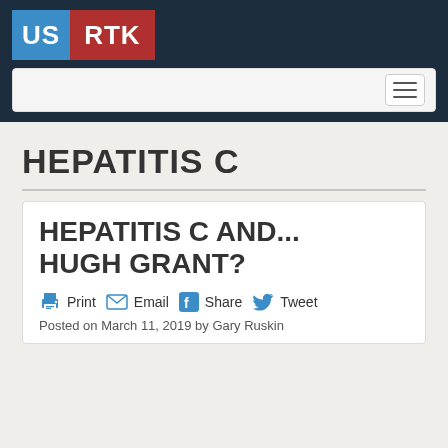[Figure (logo): US RTK logo: 'US' in blue background, 'RTK' in red background, white bold text]
[Figure (screenshot): Navigation bar with hamburger menu icon on right]
HEPATITIS C
HEPATITIS C AND... HUGH GRANT?
Print  Email  Share  Tweet
Posted on March 11, 2019 by Gary Ruskin